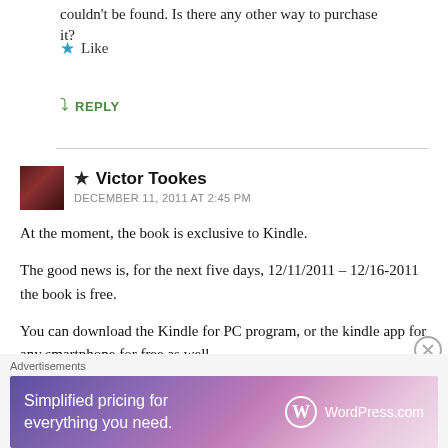couldn't be found. Is there any other way to purchase it?
Like
REPLY
Victor Tookes
DECEMBER 11, 2011 AT 2:45 PM
At the moment, the book is exclusive to Kindle.

The good news is, for the next five days, 12/11/2011 – 12/16-2011 the book is free.

You can download the Kindle for PC program, or the kindle app for any smartphone for free as well.
Advertisements
Simplified pricing for everything you need.
WordPress.com